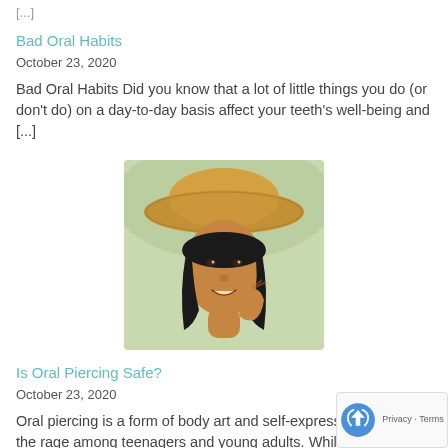[...]
Bad Oral Habits
October 23, 2020
Bad Oral Habits  Did you know that a lot of little things you do (or don't do) on a day-to-day basis affect your teeth's well-being and [...]
[Figure (photo): Young woman wearing a straw hat smiling, touching her face with her hand]
Is Oral Piercing Safe?
October 23, 2020
Oral piercing is a form of body art and self-expression that's all the rage among teenagers and young adults. While piercings of the tongue, lip or [...]